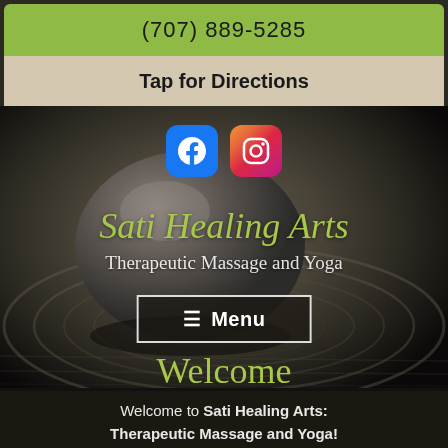(707) 889-5285
Tap for Directions
[Figure (screenshot): Facebook and Instagram social media icons]
Sati Healing Arts
Therapeutic Massage and Yoga
≡ Menu
Welcome
Welcome to Sati Healing Arts: Therapeutic Massage and Yoga!